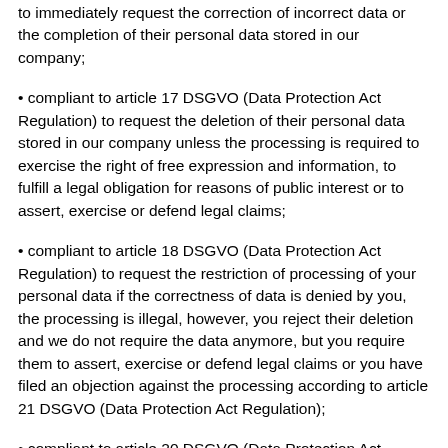to immediately request the correction of incorrect data or the completion of their personal data stored in our company;
compliant to article 17 DSGVO (Data Protection Act Regulation) to request the deletion of their personal data stored in our company unless the processing is required to exercise the right of free expression and information, to fulfill a legal obligation for reasons of public interest or to assert, exercise or defend legal claims;
compliant to article 18 DSGVO (Data Protection Act Regulation) to request the restriction of processing of your personal data if the correctness of data is denied by you, the processing is illegal, however, you reject their deletion and we do not require the data anymore, but you require them to assert, exercise or defend legal claims or you have filed an objection against the processing according to article 21 DSGVO (Data Protection Act Regulation);
compliant to article 20 DSGVO (Data Protection Act Regulation) to obtain your personal data, which you have provided us, in a structured, usual and machine-readable format or to request the transmission to another person responsible: